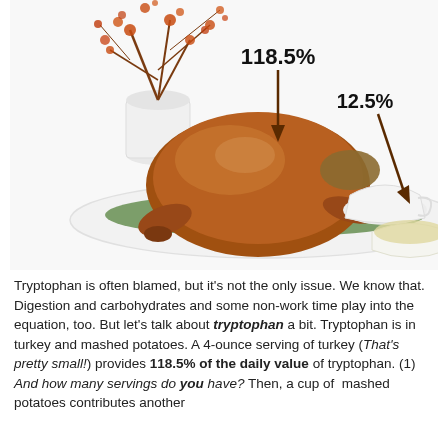[Figure (photo): A roasted turkey on a platter with garnishes, a white vase with orange-red flowering branches in the background, a gravy boat and a bowl of mashed potatoes to the right. Annotations show '118.5%' with a downward arrow pointing to the turkey and '12.5%' with a downward arrow pointing to the bowl of mashed potatoes.]
Tryptophan is often blamed, but it's not the only issue. We know that. Digestion and carbohydrates and some non-work time play into the equation, too. But let's talk about tryptophan a bit. Tryptophan is in turkey and mashed potatoes. A 4-ounce serving of turkey (That's pretty small!) provides 118.5% of the daily value of tryptophan. (1) And how many servings do you have? Then, a cup of mashed potatoes contributes another